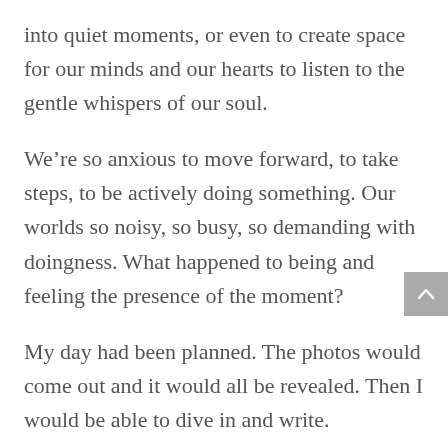into quiet moments, or even to create space for our minds and our hearts to listen to the gentle whispers of our soul.
We're so anxious to move forward, to take steps, to be actively doing something. Our worlds so noisy, so busy, so demanding with doingness. What happened to being and feeling the presence of the moment?
My day had been planned. The photos would come out and it would all be revealed. Then I would be able to dive in and write.
The photos did come out. Memories and feelings swamped me. My head did indeed slump down in empathy. My